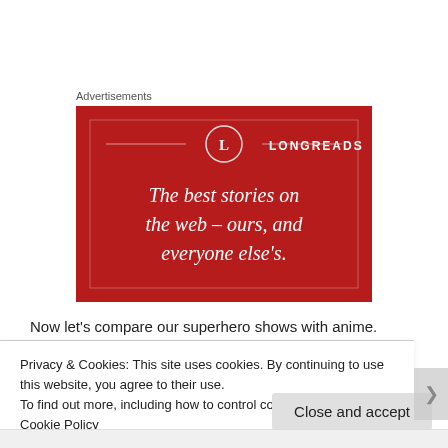Advertisements
[Figure (illustration): Longreads advertisement banner with red background, circular L logo, brand name LONGREADS, and tagline 'The best stories on the web – ours, and everyone else's.']
Now let's compare our superhero shows with anime.
Privacy & Cookies: This site uses cookies. By continuing to use this website, you agree to their use.
To find out more, including how to control cookies, see here: Cookie Policy
Close and accept